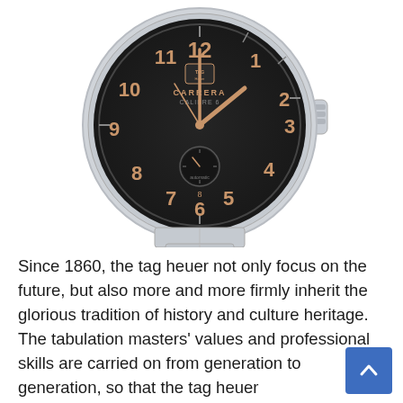[Figure (photo): TAG Heuer Carrera Calibre watch with black dial, rose gold-tone hands and Arabic numerals, small seconds subdial at 6 o'clock, stainless steel case and bracelet.]
Since 1860, the tag heuer not only focus on the future, but also more and more firmly inherit the glorious tradition of history and culture heritage. The tabulation masters' values and professional skills are carried on from generation to generation, so that the tag heuer